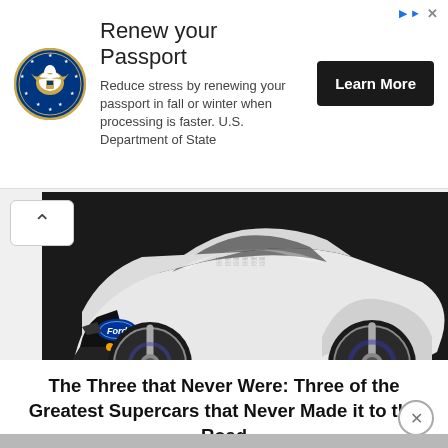[Figure (advertisement): U.S. Department of State passport renewal ad banner with eagle seal logo, title 'Renew your Passport', body text, and 'Learn More' black button]
[Figure (photo): White Ford supercar/concept car photographed at low angle on road, showing front-left quarter with Ford oval badge, blue-accent three-spoke wheels, and angular bodywork]
The Three that Never Were: Three of the Greatest Supercars that Never Made it to the Road